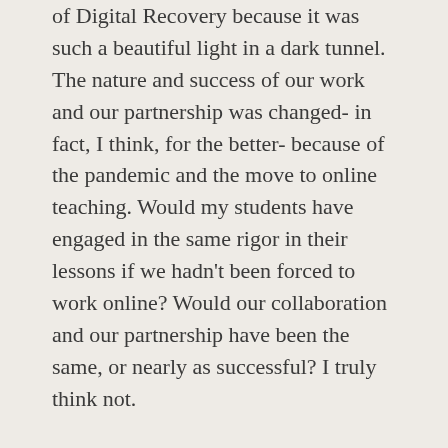of Digital Recovery because it was such a beautiful light in a dark tunnel. The nature and success of our work and our partnership was changed- in fact, I think, for the better- because of the pandemic and the move to online teaching. Would my students have engaged in the same rigor in their lessons if we hadn't been forced to work online? Would our collaboration and our partnership have been the same, or nearly as successful? I truly think not.
After the presentation, many participants asked us thoughtful, moving questions about our pedagogical process and the nature of teaching Tolkien to young students, particularly in the online format. In fact, many